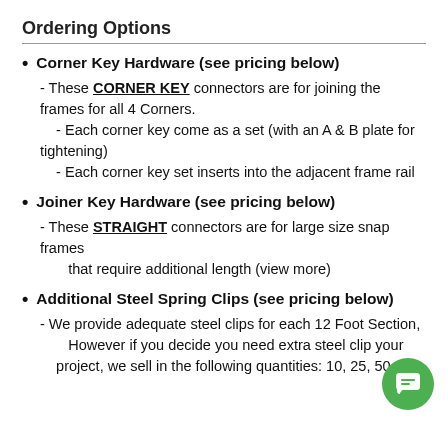Ordering Options
Corner Key Hardware (see pricing below)
- These CORNER KEY connectors are for joining the frames for all 4 Corners.
    - Each corner key come as a set (with an A & B plate for tightening)
    - Each corner key set inserts into the adjacent frame rail
Joiner Key Hardware (see pricing below)
- These STRAIGHT connectors are for large size snap frames
        that require additional length (view more)
Additional Steel Spring Clips (see pricing below)
- We provide adequate steel clips for each 12 Foot Section,
        However if you decide you need extra steel clips your
    project, we sell in the following quantities: 10, 25, 50